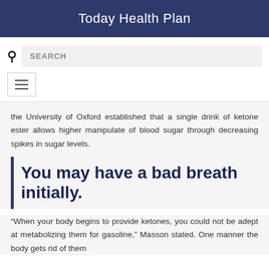Today Health Plan
the University of Oxford established that a single drink of ketone ester allows higher manipulate of blood sugar through decreasing spikes in sugar levels.
You may have a bad breath initially.
“When your body begins to provide ketones, you could not be adept at metabolizing them for gasoline,” Masson stated. One manner the body gets rid of them